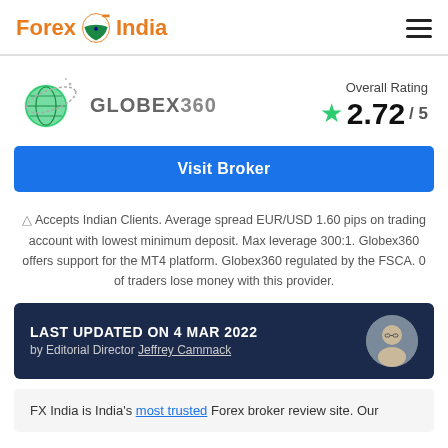Forex India
[Figure (logo): Globex360 broker logo with globe graphic and text GLOBEX360]
Overall Rating 2.72/ 5
Visit Broker
⚠ Accepts Indian Clients. Average spread EUR/USD 1.60 pips on trading account with lowest minimum deposit. Max leverage 300:1. Globex360 offers support for the MT4 platform. Globex360 regulated by the FSCA. 0 of traders lose money with this provider.
LAST UPDATED ON 4 MAR 2022 by Editorial Director Jeffrey Cammack
FX India is India's most trusted Forex broker review site. Our